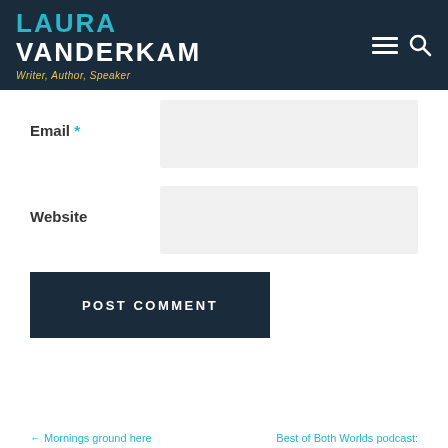LAURA VANDERKAM Writer, Author, Speaker
Email *
Website
POST COMMENT
← Mornings ground here   Best of Both Worlds podcast: